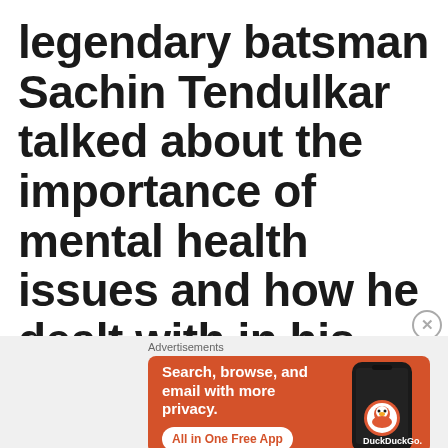legendary batsman Sachin Tendulkar talked about the importance of mental health issues and how he dealt with in his career, and what the professional players
[Figure (infographic): DuckDuckGo advertisement banner with orange background showing phone and text: Search, browse, and email with more privacy. All in One Free App]